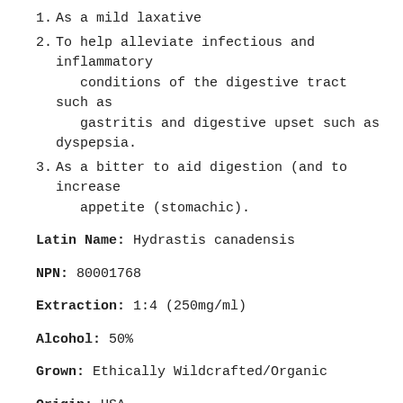1. As a mild laxative
2. To help alleviate infectious and inflammatory conditions of the digestive tract such as gastritis and digestive upset such as dyspepsia.
3. As a bitter to aid digestion (and to increase appetite (stomachic).
Latin Name: Hydrastis canadensis
NPN: 80001768
Extraction: 1:4 (250mg/ml)
Alcohol: 50%
Grown: Ethically Wildcrafted/Organic
Origin: USA